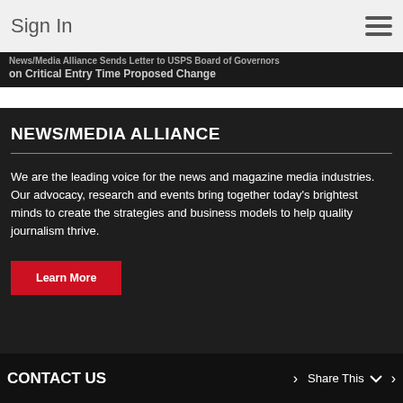Sign In
News/Media Alliance Sends Letter to USPS Board of Governors on Critical Entry Time Proposed Change
NEWS/MEDIA ALLIANCE
We are the leading voice for the news and magazine media industries. Our advocacy, research and events bring together today's brightest minds to create the strategies and business models to help quality journalism thrive.
Learn More
CONTACT US
Share This